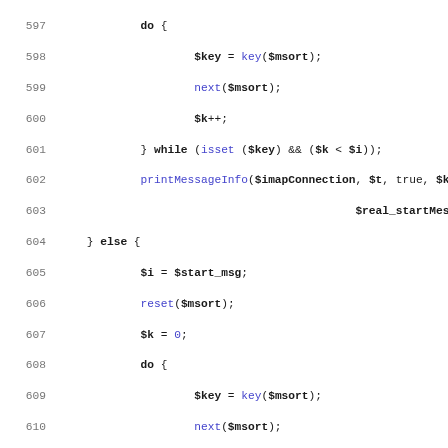[Figure (screenshot): PHP source code listing, lines 597–628, showing a do-while loop with printMessageInfo calls and an echo statement]